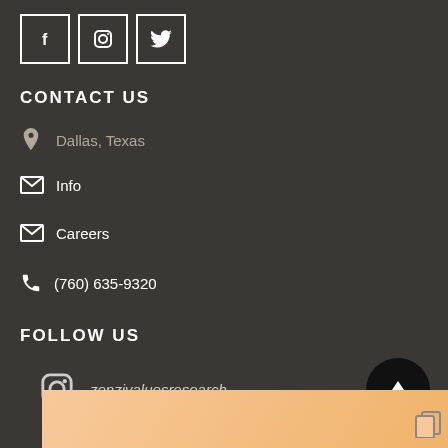[Figure (illustration): Three social media icon boxes in a row: Facebook (f), Instagram (camera), Twitter (bird) — white outlined squares on dark background]
CONTACT US
Dallas, Texas
Info
Careers
(760) 635-9320
FOLLOW US
zenzivaluesresearch
[Figure (illustration): Peach/golden colored image strip at bottom with a copy icon overlay]